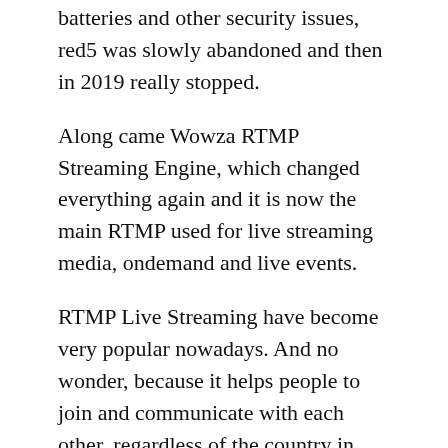batteries and other security issues, red5 was slowly abandoned and then in 2019 really stopped.
Along came Wowza RTMP Streaming Engine, which changed everything again and it is now the main RTMP used for live streaming media, ondemand and live events.
RTMP Live Streaming have become very popular nowadays. And no wonder, because it helps people to join and communicate with each other, regardless of the country in which they live. In addition, this online method can be tremendously useful live streaming church services, broadcasting your services, streaming